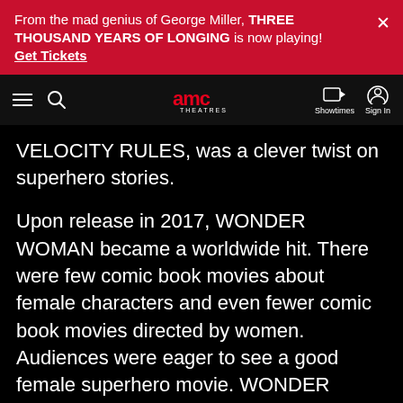From the mad genius of George Miller, THREE THOUSAND YEARS OF LONGING is now playing! Get Tickets
[Figure (logo): AMC Theatres navigation bar with hamburger menu, search icon, AMC Theatres logo, Showtimes icon, and Sign In icon]
VELOCITY RULES, was a clever twist on superhero stories.
Upon release in 2017, WONDER WOMAN became a worldwide hit. There were few comic book movies about female characters and even fewer comic book movies directed by women. Audiences were eager to see a good female superhero movie. WONDER WOMAN was better than good; it was great — and it reminded studios that Patty Jenkins is extremely talented.
It didn't take long for Jenkins to sign on to direct the